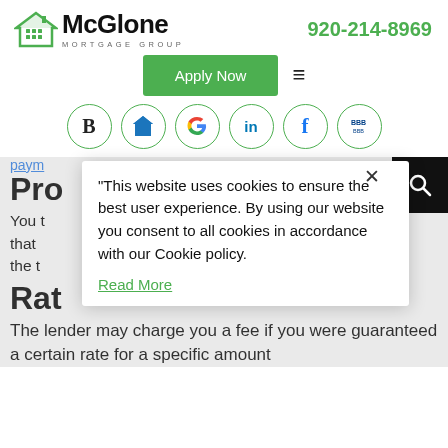[Figure (logo): McGlone Mortgage Group logo with green house icon]
920-214-8969
[Figure (screenshot): Apply Now green button and hamburger menu icon]
[Figure (screenshot): Row of 6 social/review icon circles: B (Bing?), Zillow, Google, LinkedIn, Facebook, BBB]
paym...
Pro... s
You ... school taxes that ... o the end of the t...
Rat
The lender may charge you a fee if you were guaranteed a certain rate for a specific amount
"This website uses cookies to ensure the best user experience. By using our website you consent to all cookies in accordance with our Cookie policy.
Read More